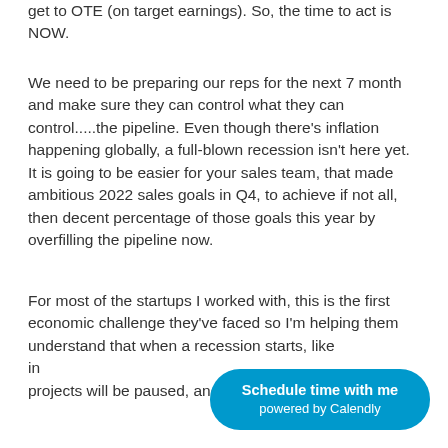get to OTE (on target earnings). So, the time to act is NOW.
We need to be preparing our reps for the next 7 month and make sure they can control what they can control.....the pipeline. Even though there’s inflation happening globally, a full-blown recession isn’t here yet. It is going to be easier for your sales team, that made ambitious 2022 sales goals in Q4, to achieve if not all, then decent percentage of those goals this year by overfilling the pipeline now.
For most of the startups I worked with, this is the first economic challenge they've faced so I’m helping them understand that when a recession starts, like in projects will be paused, and commissioner
[Figure (other): Calendly scheduling button: 'Schedule time with me powered by Calendly' in blue rounded button]